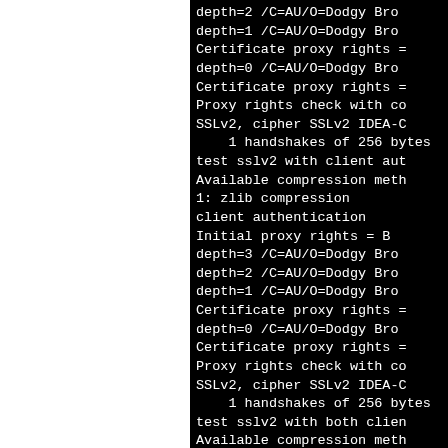[Figure (screenshot): Terminal/console output on black background showing SSL/TLS proxy certificate depth and handshake log lines, partially cropped on the right. Left portion of page is white (blank).]